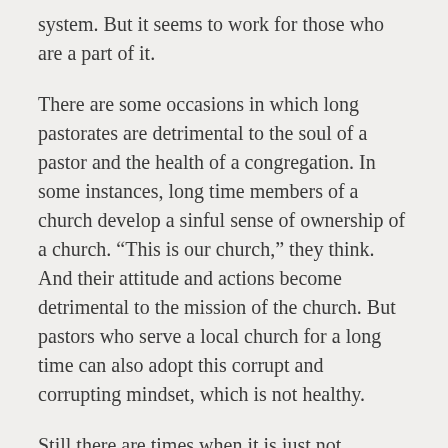system. But it seems to work for those who are a part of it.
There are some occasions in which long pastorates are detrimental to the soul of a pastor and the health of a congregation. In some instances, long time members of a church develop a sinful sense of ownership of a church. “This is our church,” they think. And their attitude and actions become detrimental to the mission of the church. But pastors who serve a local church for a long time can also adopt this corrupt and corrupting mindset, which is not healthy.
Still there are times when it is just not possible for a pastor and congregation to serve Christ together